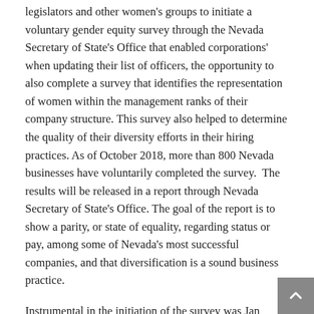legislators and other women's groups to initiate a voluntary gender equity survey through the Nevada Secretary of State's Office that enabled corporations' when updating their list of officers, the opportunity to also complete a survey that identifies the representation of women within the management ranks of their company structure. This survey also helped to determine the quality of their diversity efforts in their hiring practices. As of October 2018, more than 800 Nevada businesses have voluntarily completed the survey.  The results will be released in a report through Nevada Secretary of State's Office. The goal of the report is to show a parity, or state of equality, regarding status or pay, among some of Nevada's most successful companies, and that diversification is a sound business practice.
Instrumental in the initiation of the survey was Jan Jones-Blackhurst, former mayor of the City of Las Vegas, prominent business leader, executive vice president, public policy & corporate responsibility of Caesars Entertainment, and women's advocate for equality. Blackhurst helped to frame the questions and provided both personal and corporate support to the Commission in the execution of the survey. Caesars proudly